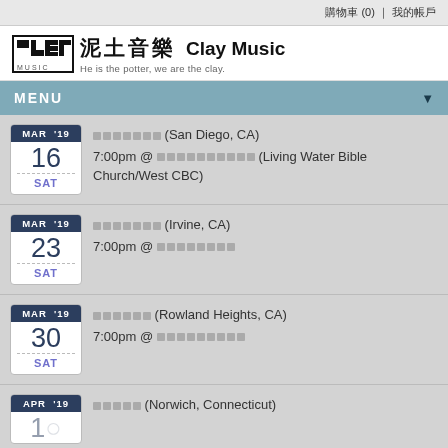購物車 (0) | 我的帳戶
[Figure (logo): Clay Music logo with Chinese characters 泥土音樂 and tagline 'He is the potter, we are the clay.']
MENU
MAR '19 16 SAT - ███████ (San Diego, CA) 7:00pm @ ██████████ (Living Water Bible Church/West CBC)
MAR '19 23 SAT - ███████ (Irvine, CA) 7:00pm @ ████████
MAR '19 30 SAT - ██████ (Rowland Heights, CA) 7:00pm @ █████████
APR '19 - ████ (Norwich, Connecticut)